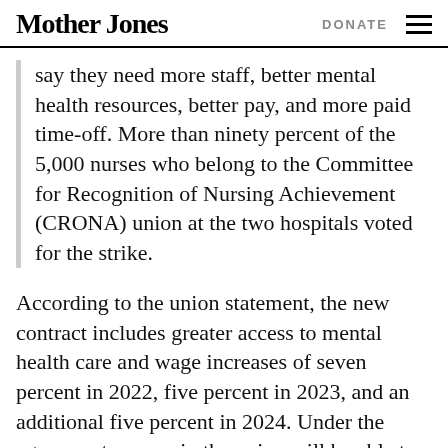Mother Jones | DONATE
say they need more staff, better mental health resources, better pay, and more paid time-off. More than ninety percent of the 5,000 nurses who belong to the Committee for Recognition of Nursing Achievement (CRONA) union at the two hospitals voted for the strike.
According to the union statement, the new contract includes greater access to mental health care and wage increases of seven percent in 2022, five percent in 2023, and an additional five percent in 2024. Under the agreement, nurses in the union will be able to pre-schedule an additional week of vacation,